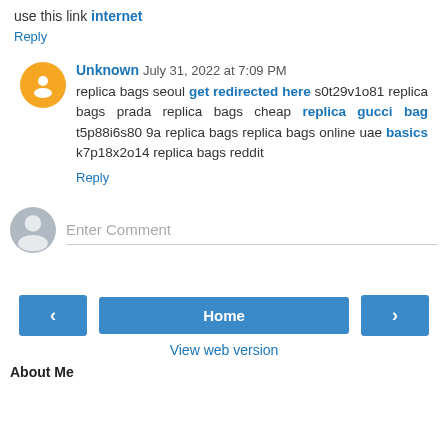use this link internet
Reply
Unknown July 31, 2022 at 7:09 PM
replica bags seoul get redirected here s0t29v1o81 replica bags prada replica bags cheap replica gucci bag t5p88i6s80 9a replica bags replica bags online uae basics k7p18x2o14 replica bags reddit
Reply
Enter Comment
Home
View web version
About Me